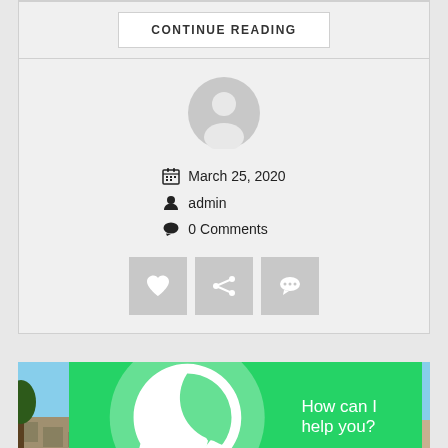CONTINUE READING
[Figure (illustration): Generic user avatar — grey circle with silhouette of a person]
March 25, 2020
admin
0 Comments
[Figure (illustration): Three social action buttons: heart/like, share, and comment icons on grey square backgrounds]
[Figure (photo): Street scene of a town with shops, market stalls, food carts, trees, and a clock tower under a blue sky]
How can I help you?